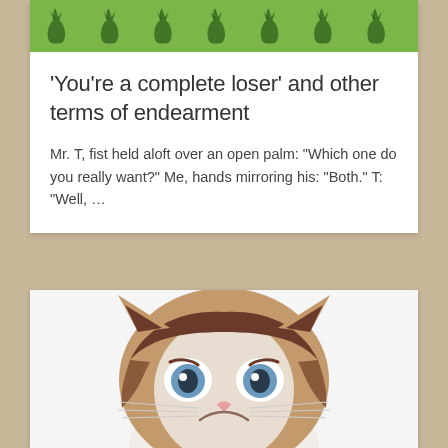[Figure (illustration): Green background card header with repeating cat silhouette pattern]
'You’re a complete loser’ and other terms of endearment
Mr. T, fist held aloft over an open palm: “Which one do you really want?” Me, hands mirroring his: “Both.” T: “Well, …
[Figure (photo): Close-up photo of Grumpy Cat (flat-faced cat with blue eyes and frowning expression) on white background]